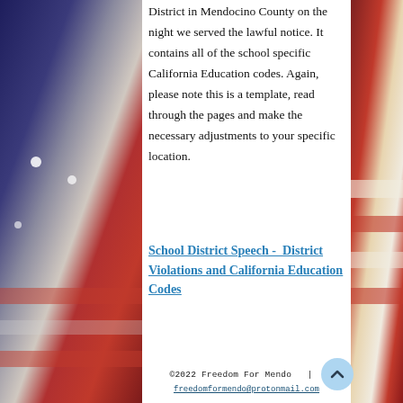District in Mendocino County on the night we served the lawful notice. It contains all of the school specific California Education codes. Again, please note this is a template, read through the pages and make the necessary adjustments to your specific location.
School District Speech -  District Violations and California Education Codes
©2022 Freedom For Mendo  |  freedomformendo@protonmail.com